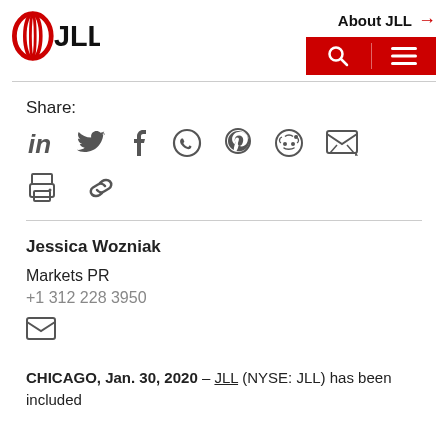JLL logo and navigation header with About JLL link and search/menu buttons
Share:
[Figure (other): Social sharing icons row: LinkedIn, Twitter, Facebook, WhatsApp, Pinterest, Reddit, Email]
[Figure (other): Additional sharing icons: Print, Link/Share]
Jessica Wozniak
Markets PR
+1 312 228 3950
[Figure (other): Email icon (envelope/letter icon)]
CHICAGO, Jan. 30, 2020 – JLL (NYSE: JLL) has been included